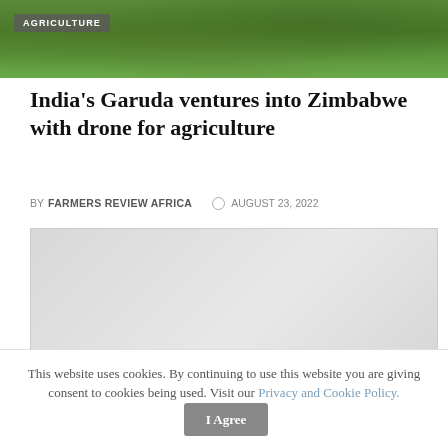[Figure (photo): Aerial or close-up view of green agricultural crops/vegetation]
India's Garuda ventures into Zimbabwe with drone for agriculture
BY FARMERS REVIEW AFRICA  AUGUST 23, 2022
[Figure (photo): Gray placeholder image for a second article with TECH category badge]
This website uses cookies. By continuing to use this website you are giving consent to cookies being used. Visit our Privacy and Cookie Policy.